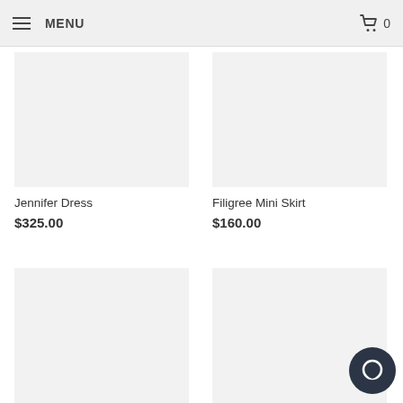MENU | 0
[Figure (photo): Product image placeholder for Jennifer Dress (grey rectangle)]
Jennifer Dress
$325.00
[Figure (photo): Product image placeholder for Filigree Mini Skirt (grey rectangle)]
Filigree Mini Skirt
$160.00
[Figure (photo): Product image placeholder bottom-left (grey rectangle, partially visible)]
[Figure (photo): Product image placeholder bottom-right (grey rectangle, partially visible)]